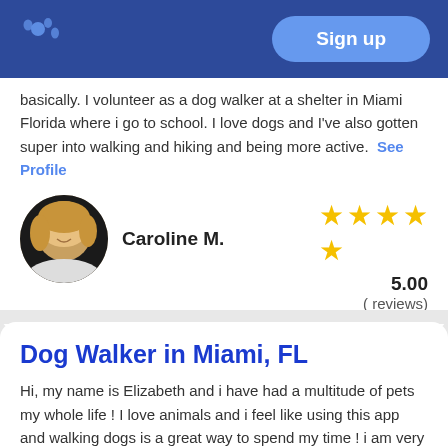Sign up
basically. I volunteer as a dog walker at a shelter in Miami Florida where i go to school. I love dogs and I've also gotten super into walking and hiking and being more active. See Profile
[Figure (photo): Circular avatar photo of a smiling blonde woman (Caroline M.)]
Caroline M.
5.00
( reviews)
Dog Walker in Miami, FL
Hi, my name is Elizabeth and i have had a multitude of pets my whole life ! I love animals and i feel like using this app and walking dogs is a great way to spend my time ! i am very energetic and happy all the time and i love being with animals during my free time. See